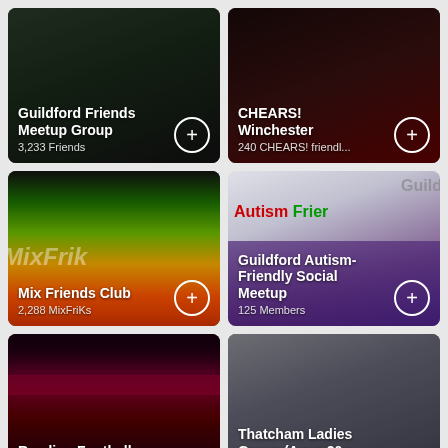[Figure (screenshot): Guildford Friends Meetup Group card with hiking/forest photo background, white title and member count, plus button]
[Figure (screenshot): CHEARS! Winchester card with wine glasses photo background, white title and member count, plus button]
[Figure (screenshot): Mix Friends Club card with colorful MixFrik banner background, white title and member count, plus button]
[Figure (screenshot): Guildford Autism-Friendly Social Meetup card with colorful autism-friendly text background, white title and member count, plus button]
[Figure (screenshot): Reading Football card with dark bar/nightclub photo background, white title, partially visible]
[Figure (screenshot): Thatcham Ladies Group (Ages 20s) card with group photo background, white title, partially visible]